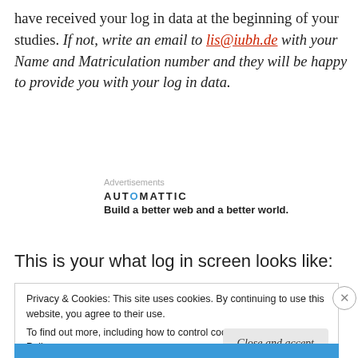have received your log in data at the beginning of your studies. If not, write an email to lis@iubh.de with your Name and Matriculation number and they will be happy to provide you with your log in data.
Advertisements
[Figure (logo): Automattic logo and tagline: Build a better web and a better world.]
This is your what log in screen looks like:
Privacy & Cookies: This site uses cookies. By continuing to use this website, you agree to their use. To find out more, including how to control cookies, see here: Cookie Policy
Close and accept